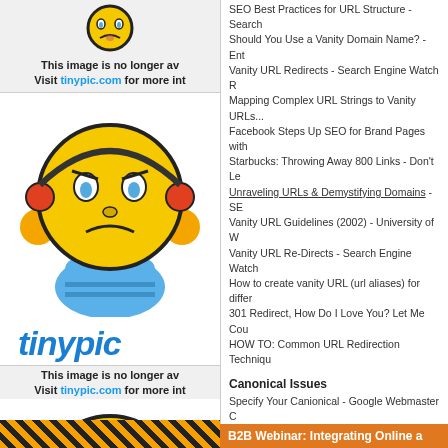[Figure (illustration): TinyPic 'image no longer available' placeholder with sad emoji face]
This image is no longer av...
Visit tinypic.com for more int...
[Figure (illustration): Sad emoji character with headphones and blue overalls]
[Figure (logo): tinypic logo text in blue stylized font]
This image is no longer av...
Visit tinypic.com for more int...
SEO Best Practices for URL Structure - Search...
Should You Use a Vanity Domain Name? - Ent...
Vanity URL Redirects - Search Engine Watch R...
Mapping Complex URL Strings to Vanity URLs...
Facebook Steps Up SEO for Brand Pages with...
Starbucks: Throwing Away 800 Links - Don't Le...
Unraveling URLs & Demystifying Domains - SE...
Vanity URL Guidelines (2002) - University of W...
Vanity URL Re-Directs - Search Engine Watch ...
How to create vanity URL (url aliases) for differ...
301 Redirect, How Do I Love You? Let Me Cou...
HOW TO: Common URL Redirection Techniqu...
Canonical Issues
Specify Your Canionical - Google Webmaster C...
Canonical URL Tag Is Worth A Shot - Get Elas...
Canonical URL links - Youst
Be a Normalizer - a C14N Exterminator - Suga...
Windows Web Servers and Case Sensitive UR...
Duplicate Content
Duplicate Content - Google Webmaster's Help...
Demystifying the Duplicate Content Penalty - G...
Dynamic URLs vs Static URL - Google Webma...
Duplicate Content Due to Scrapers - Google W...
The Illustrated Guide to Duplicate Content in th...
Labels: vanity URLs and SEO
[Figure (illustration): Sad emoji character at the bottom left]
B2B Webinar: Integrating Online a...